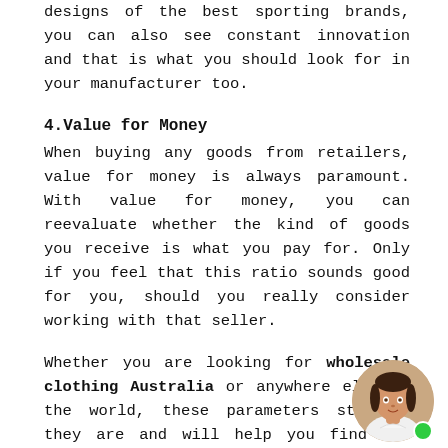designs of the best sporting brands, you can also see constant innovation and that is what you should look for in your manufacturer too.
4.Value for Money
When buying any goods from retailers, value for money is always paramount. With value for money, you can reevaluate whether the kind of goods you receive is what you pay for. Only if you feel that this ratio sounds good for you, should you really consider working with that seller.
Whether you are looking for wholesale clothing Australia or anywhere else in the world, these parameters stay as they are and will help you find the best kind of manufactured fitness clothing that will make your consumers happy and grow your business along with it. When working to satisfy customers, it is the only way you can expect your business to grow, because even today, the best
[Figure (photo): A circular avatar photo of a woman in the bottom right corner, with a green online/status dot in the lower right of the circle.]